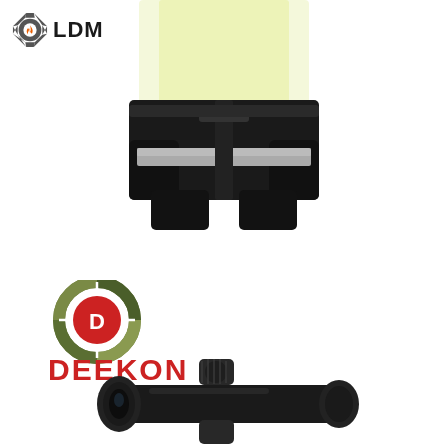[Figure (logo): LDM logo with gear/flame icon and text LDM]
[Figure (photo): Safety vest / high-visibility vest bottom half showing black waist section with reflective silver strip and two front pockets, with yellow hi-vis top portion visible above]
[Figure (logo): DEEKON logo with camouflage circular target/crosshair icon above red bold text DEEKON]
[Figure (photo): Black rifle scope / riflescope optical sight, partial view showing turret knobs and objective lens barrel]